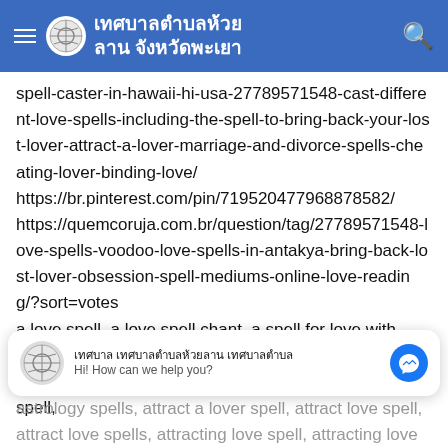เทศบาลตำบลห้วยลาน จังหวัดพะเยา
spell-caster-in-hawaii-hi-usa-27789571548-cast-different-love-spells-including-the-spell-to-bring-back-your-lost-lover-attract-a-lover-marriage-and-divorce-spells-cheating-lover-binding-love/
https://br.pinterest.com/pin/719520477968878582/
https://quemcoruja.com.br/question/tag/27789571548-love-spells-voodoo-love-spells-in-antakya-bring-back-lost-lover-obsession-spell-mediums-online-love-reading/?sort=votes
a love spell, a love spell chant, a spell for love with words, a spell to make someone love you, african love spells, amas veritas spell, ancient love spells, anti love spell,
astrology spells, attract a lover spell, attract love spell, attract love spells, attracting love spell, attracting love